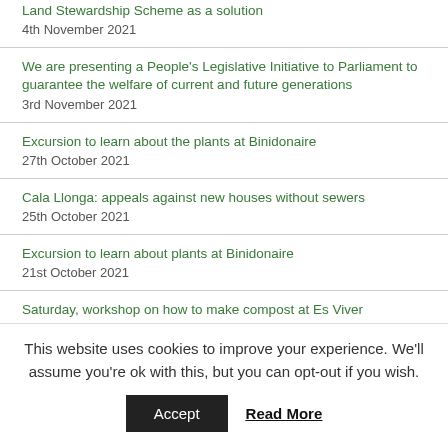Land Stewardship Scheme as a solution
4th November 2021
We are presenting a People's Legislative Initiative to Parliament to guarantee the welfare of current and future generations
3rd November 2021
Excursion to learn about the plants at Binidonaire
27th October 2021
Cala Llonga: appeals against new houses without sewers
25th October 2021
Excursion to learn about plants at Binidonaire
21st October 2021
Saturday, workshop on how to make compost at Es Viver
15th October 2021
This website uses cookies to improve your experience. We'll assume you're ok with this, but you can opt-out if you wish.